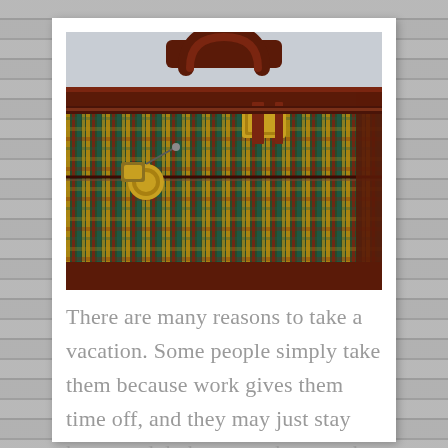[Figure (photo): Close-up photograph of a vintage tapestry suitcase with dark burgundy leather trim, brass buckles, a leather handle on top, and a luggage tag attached to the zipper pull. The fabric features a colorful woven pattern with teal, gold, red, and green colors.]
There are many reasons to take a vacation. Some people simply take them because work gives them time off, and they may just stay home and do housework or catch up on home repairs...